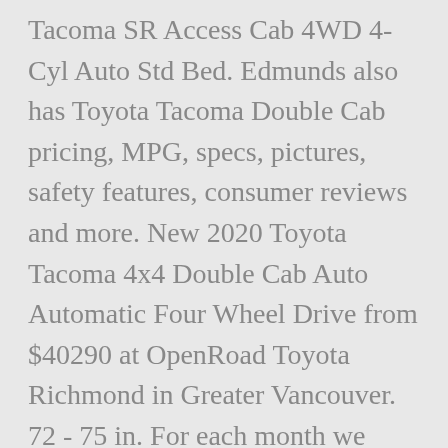Tacoma SR Access Cab 4WD 4-Cyl Auto Std Bed. Edmunds also has Toyota Tacoma Double Cab pricing, MPG, specs, pictures, safety features, consumer reviews and more. New 2020 Toyota Tacoma 4x4 Double Cab Auto Automatic Four Wheel Drive from $40290 at OpenRoad Toyota Richmond in Greater Vancouver. 72 - 75 in. For each month we recalculate the weighted average price for the products found with query 'Toyota tacoma camper shell' between price range 500 - 150000. Skip to main content. Explore the 2021 Toyota Tacoma, a powerful mid-size truck. Research the 2021 Toyota Tacoma with our expert reviews and ratings. Come find a great deal on used 2020 Toyota Tacomas in your